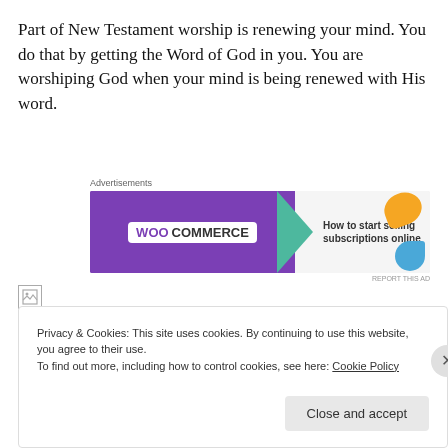Part of New Testament worship is renewing your mind. You do that by getting the Word of God in you. You are worshiping God when your mind is being renewed with His word.
[Figure (screenshot): WooCommerce advertisement: 'How to start selling subscriptions online' with purple background, WooCommerce logo, green chevron arrow, orange blob, and blue blob on right side.]
[Figure (other): Broken image icon with horizontal divider line]
Privacy & Cookies: This site uses cookies. By continuing to use this website, you agree to their use.
To find out more, including how to control cookies, see here: Cookie Policy